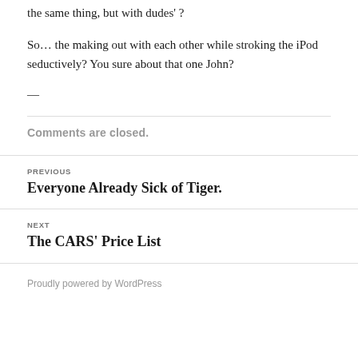the same thing, but with dudes ?
So… the making out with each other while stroking the iPod seductively? You sure about that one John?
—
Comments are closed.
PREVIOUS
Everyone Already Sick of Tiger.
NEXT
The CARS' Price List
Proudly powered by WordPress